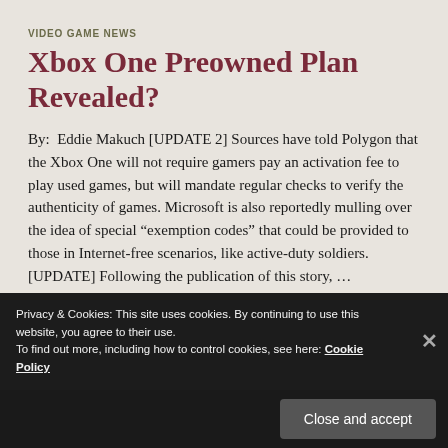VIDEO GAME NEWS
Xbox One preowned plan revealed?
By:  Eddie Makuch [UPDATE 2] Sources have told Polygon that the Xbox One will not require gamers pay an activation fee to play used games, but will mandate regular checks to verify the authenticity of games. Microsoft is also reportedly mulling over the idea of special “exemption codes” that could be provided to those in Internet-free scenarios, like active-duty soldiers. [UPDATE] Following the publication of this story, …
Continue reading
Privacy & Cookies: This site uses cookies. By continuing to use this website, you agree to their use.
To find out more, including how to control cookies, see here: Cookie Policy
Close and accept